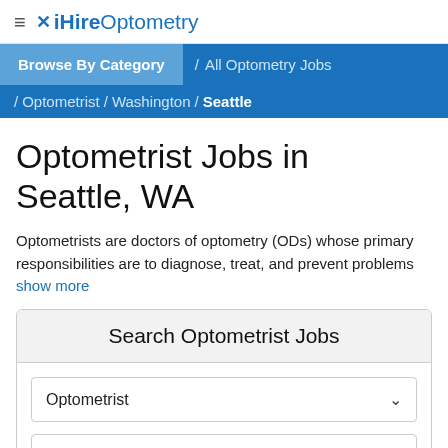≡ iHireOptometry
Browse By Category / All Optometry Jobs / Optometrist / Washington / Seattle
Optometrist Jobs in Seattle, WA
Optometrists are doctors of optometry (ODs) whose primary responsibilities are to diagnose, treat, and prevent problems
show more
Search Optometrist Jobs
Optometrist
Seattle, WA